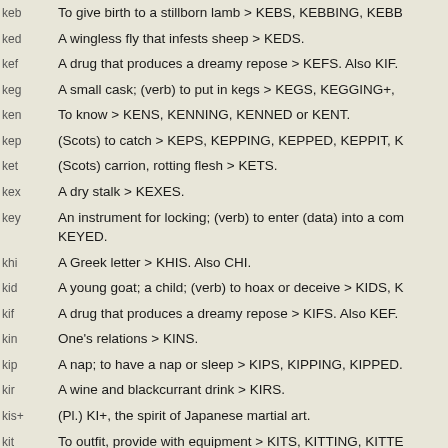keb   To give birth to a stillborn lamb > KEBS, KEBBING, KEBB
ked   A wingless fly that infests sheep > KEDS.
kef   A drug that produces a dreamy repose > KEFS. Also KIF.
keg   A small cask; (verb) to put in kegs > KEGS, KEGGING+,
ken   To know > KENS, KENNING, KENNED or KENT.
kep   (Scots) to catch > KEPS, KEPPING, KEPPED, KEPPIT, K
ket   (Scots) carrion, rotting flesh > KETS.
kex   A dry stalk > KEXES.
key   An instrument for locking; (verb) to enter (data) into a com KEYED.
khi   A Greek letter > KHIS. Also CHI.
kid   A young goat; a child; (verb) to hoax or deceive > KIDS, K
kif   A drug that produces a dreamy repose > KIFS. Also KEF.
kin   One's relations > KINS.
kip   A nap; to have a nap or sleep > KIPS, KIPPING, KIPPED.
kir   A wine and blackcurrant drink > KIRS.
kis+  (Pl.) KI+, the spirit of Japanese martial art.
kit   To outfit, provide with equipment > KITS, KITTING, KITTE
koa   A Hawaiian acacia > KOAS.